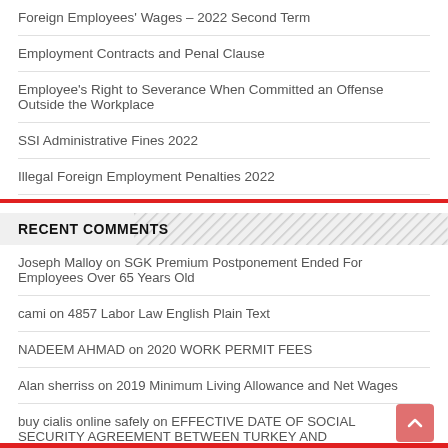Foreign Employees' Wages – 2022 Second Term
Employment Contracts and Penal Clause
Employee's Right to Severance When Committed an Offense Outside the Workplace
SSI Administrative Fines 2022
Illegal Foreign Employment Penalties 2022
RECENT COMMENTS
Joseph Malloy on SGK Premium Postponement Ended For Employees Over 65 Years Old
cami on 4857 Labor Law English Plain Text
NADEEM AHMAD on 2020 WORK PERMIT FEES
Alan sherriss on 2019 Minimum Living Allowance and Net Wages
buy cialis online safely on EFFECTIVE DATE OF SOCIAL SECURITY AGREEMENT BETWEEN TURKEY AND HUNGARY